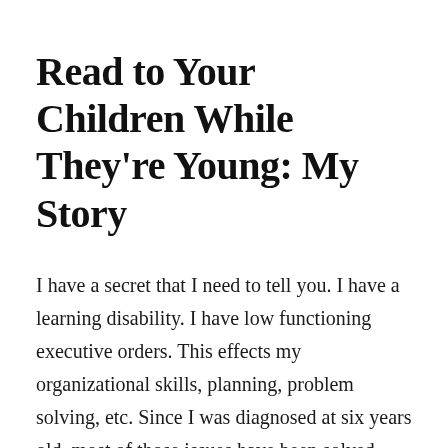Read to Your Children While They're Young: My Story
I have a secret that I need to tell you. I have a learning disability. I have low functioning executive orders. This effects my organizational skills, planning, problem solving, etc. Since I was diagnosed at six years old, most of those issues have been solved. Thank God for early intervention. I received the tools that
Continue reading →